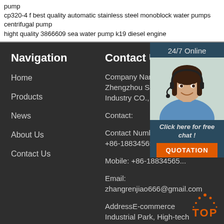pump
cp320-4 f best quality automatic stainless steel monoblock water pumps centrifugal pump
hight quality 3866609 sea water pump k19 diesel engine
Navigation
Home
Products
News
About Us
Contact Us
Contact Us
Company Name: Zhengzhou Shenlong Industry CO., Ltd
Contact:
Contact Number: +86-18834565182
Mobile: +86-18834565...
Email: zhangrenjiao666@gmail.com
AddressE-commerce Industrial Park, High-tech Zone, Zhengzhou city
[Figure (photo): Customer service agent with headset, smiling. Widget shows 24/7 Online, Click here for free chat!, and QUOTATION button.]